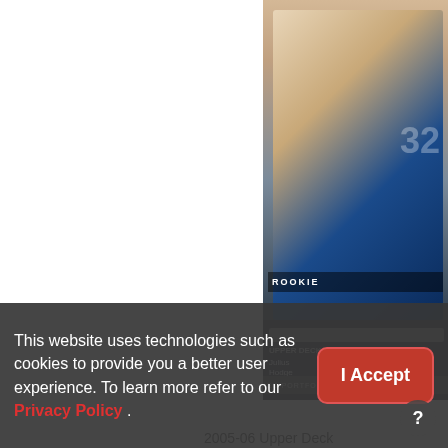[Figure (photo): Basketball trading card showing Julius Hodge in uniform #32, 2005-06 Upper Deck Rookie Spectrum card, partially cropped on right edge]
2005-06 Upper Deck [Base] - Spectrum #1
Julius Hodge #/75
2 from $3.00
[Figure (photo): Second basketball trading card, partially visible at bottom right, cropped]
This website uses technologies such as cookies to provide you a better user experience. To learn more refer to our Privacy Policy .
I Accept